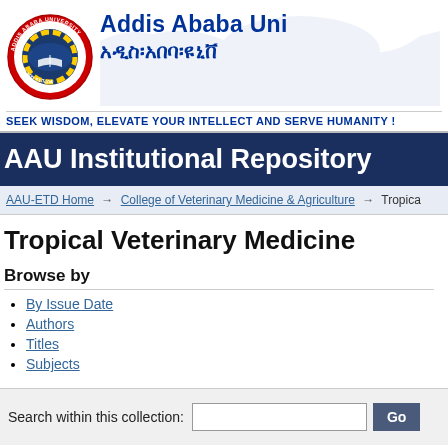[Figure (logo): Addis Ababa University circular logo with red border, yellow gear, open book and world map, with text 'ADDIS ABABA UNIVERSITY' around the rim]
Addis Ababa Uni
አዲስ፡አበባ፡ዩኒቨ
SEEK WISDOM, ELEVATE YOUR INTELLECT AND SERVE HUMANITY !
AAU Institutional Repository
AAU-ETD Home → College of Veterinary Medicine & Agriculture → Tropica
Tropical Veterinary Medicine
Browse by
By Issue Date
Authors
Titles
Subjects
Search within this collection: